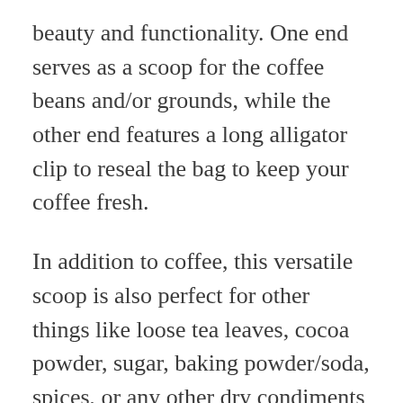beauty and functionality. One end serves as a scoop for the coffee beans and/or grounds, while the other end features a long alligator clip to reseal the bag to keep your coffee fresh.
In addition to coffee, this versatile scoop is also perfect for other things like loose tea leaves, cocoa powder, sugar, baking powder/soda, spices, or any other dry condiments you have on hand; making it a truly convenient kitchen tool.
Available in four colors and ideal for use at home or in the office, and perfect as a lovely gift for birthdays, weddings, Christmas, or as housewarming gifts; this is an ideal gift for just